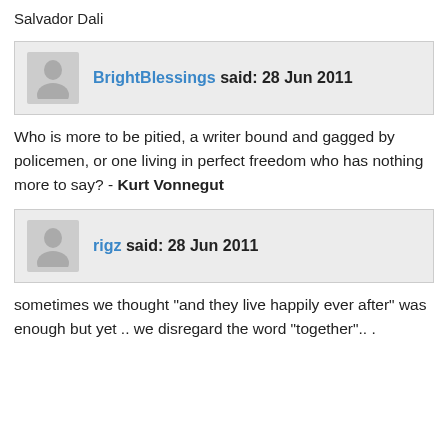Salvador Dali
BrightBlessings said: 28 Jun 2011
Who is more to be pitied, a writer bound and gagged by policemen, or one living in perfect freedom who has nothing more to say? - Kurt Vonnegut
rigz said: 28 Jun 2011
sometimes we thought "and they live happily ever after" was enough but yet .. we disregard the word "together".. .